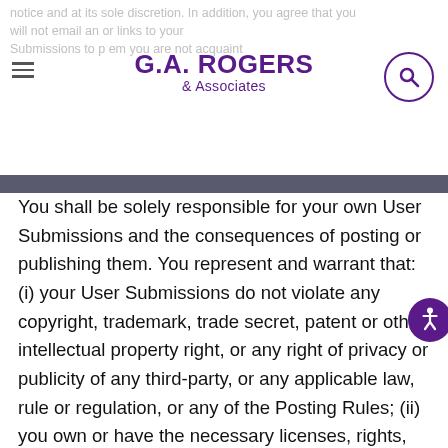G.A. ROGERS & Associates
notice and at its sole discretion. In addition, you agree that you will not email and include or links to your Submissions to people you are not acquainted with.
You shall be solely responsible for your own User Submissions and the consequences of posting or publishing them. You represent and warrant that:  (i) your User Submissions do not violate any copyright, trademark, trade secret, patent or other intellectual property right, or any right of privacy or publicity of any third-party, or any applicable law, rule or regulation, or any of the Posting Rules; (ii) you own or have the necessary licenses, rights, consents, and permissions to use and authorize PrideStaff to post, publish, reproduce, display and otherwise exercise all rights in your User Submissions, including, but not limited to, the written consent, release, and/or permission of each and every identifiable individual person featured or referenced in the User Submission to use their name, voice, likeness, or any other personal identifying